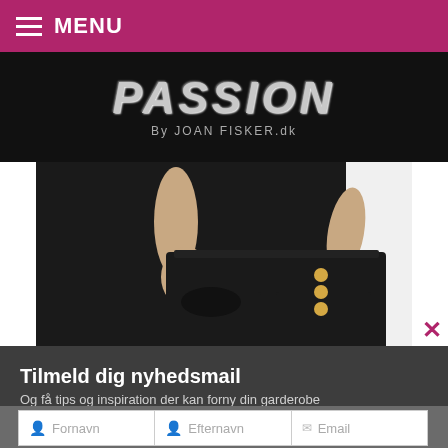MENU
[Figure (logo): PASSION By JOAN FISKER.dk logo on black background]
[Figure (photo): Person wearing black sleeveless top and black wide-leg pants with gold buttons, hands in pockets, against white background]
Tilmeld dig nyhedsmail
Og få tips og inspiration der kan forny din garderobe